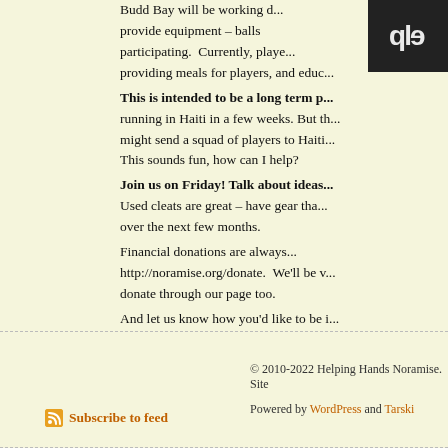[Figure (photo): Partial photo with text overlay reading 'elp' (mirrored/partial)]
Budd Bay will be working d... provide equipment – balls ... participating. Currently, playe... providing meals for players, and educ... This is intended to be a long term p... running in Haiti in a few weeks. But th... might send a squad of players to Haiti... This sounds fun, how can I help? Join us on Friday! Talk about ideas... Used cleats are great – have gear tha... over the next few months. Financial donations are always... http://noramise.org/donate. We'll be v... donate through our page too. And let us know how you'd like to be i... There's so much potential here – it w... into a phenomenal success! -Kyle
© 2010-2022 Helping Hands Noramise. Site Powered by WordPress and Tarski